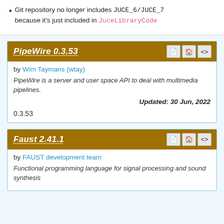Git repository no longer includes JUCE_6/JUCE_7 because it's just included in JuceLibraryCode
PipeWire 0.3.53
by Wim Taymans (wtay)
PipeWire is a server and user space API to deal with multimedia pipelines.
Updated: 30 Jun, 2022
0.3.53
Faust 2.41.1
by FAUST development team
Functional programming language for signal processing and sound synthesis